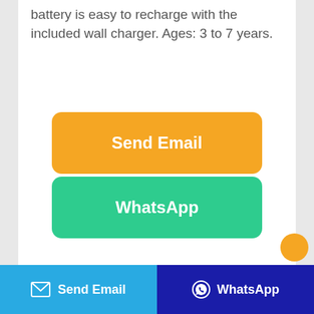battery is easy to recharge with the included wall charger. Ages: 3 to 7 years.
[Figure (other): Orange 'Send Email' button]
[Figure (other): Green 'WhatsApp' button]
[Figure (photo): Product photo of a desk lamp with clamp base]
Send Email   WhatsApp